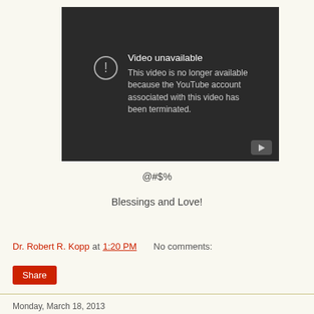[Figure (screenshot): YouTube video unavailable error screen with dark background showing 'Video unavailable' message and exclamation mark icon in circle. Text reads: 'This video is no longer available because the YouTube account associated with this video has been terminated.' YouTube play button icon visible in bottom right corner.]
@#$%
Blessings and Love!
Dr. Robert R. Kopp at 1:20 PM    No comments:
Share